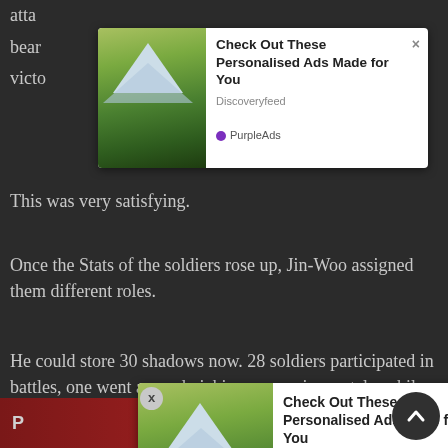atta
bear
victo
[Figure (screenshot): Ad popup: 'Check Out These Personalised Ads Made for You' from Discoveryfeed, powered by PurpleAds, with mountain landscape image]
This was very satisfying.
Once the Stats of the soldiers rose up, Jin-Woo assigned them different roles.
He could store 30 shadows now. 28 soldiers participated in battles, one went around picking up magic crystals, while the remaining one secured the bear meat.
[Figure (screenshot): Second ad popup: 'Check Out These Personalised Ads Made for You' from Discoveryfeed, powered by PurpleAds, with mountain landscape image]
He did